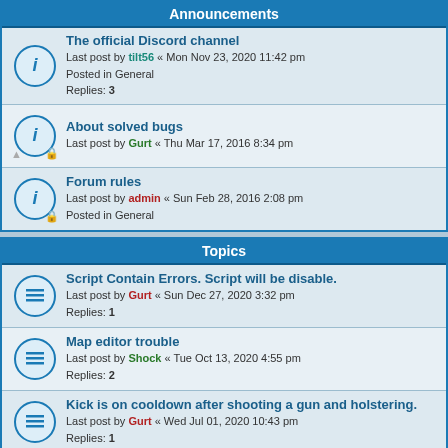Announcements
The official Discord channel
Last post by tilt56 « Mon Nov 23, 2020 11:42 pm
Posted in General
Replies: 3
About solved bugs
Last post by Gurt « Thu Mar 17, 2016 8:34 pm
Forum rules
Last post by admin « Sun Feb 28, 2016 2:08 pm
Posted in General
Topics
Script Contain Errors. Script will be disable.
Last post by Gurt « Sun Dec 27, 2020 3:32 pm
Replies: 1
Map editor trouble
Last post by Shock « Tue Oct 13, 2020 4:55 pm
Replies: 2
Kick is on cooldown after shooting a gun and holstering.
Last post by Gurt « Wed Jul 01, 2020 10:43 pm
Replies: 1
Simple bug on HUD
Last post by Gurt « Tue Jun 30, 2020 2:58 pm
Replies: 2
gun cooldown applied to melee swings
Last post by Gurt « Tue Jun 30, 2020 2:17 pm
Replies: 1